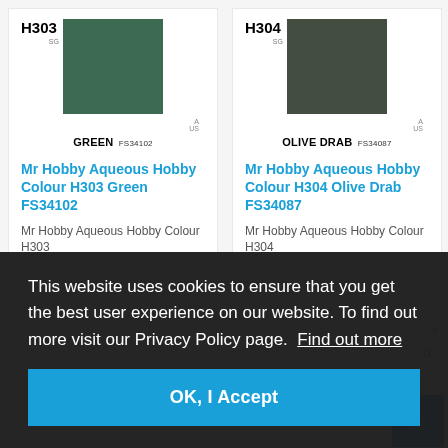[Figure (other): Color swatch card for H303 Green FS34102 - shows a medium green square swatch with code H303, SG label, A/US labels, and color name GREEN FS34102]
Mr Hobby Aqueous Hobby Colour H303 Green FS34102
Mr Hobby Aqueous Hobby Colour H303
[Figure (other): Color swatch card for H304 Olive Drab FS34087 - shows a dark olive green square swatch with code H304, SG label, A/US labels, and color name OLIVE DRAB FS34087]
Mr Hobby Aqueous Hobby Colour H304 Olive Drab FS34087
Mr Hobby Aqueous Hobby Colour H304
This website uses cookies to ensure that you get the best user experience on our website. To find out more visit our Privacy Policy page.  Find out more
OK, I Accept